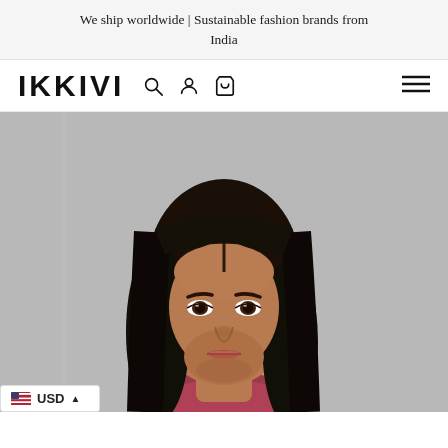We ship worldwide | Sustainable fashion brands from India
IKKIVI
[Figure (photo): Portrait of a young South Asian female model with long black hair, wearing a scarf, photographed against a grey background. Currency selector widget showing USD with US flag in the bottom-left corner.]